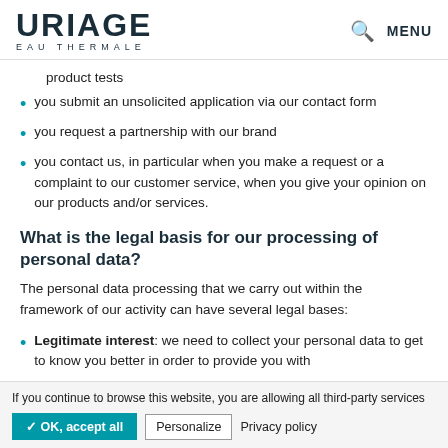URIAGE EAU THERMALE — MENU
product tests
you submit an unsolicited application via our contact form
you request a partnership with our brand
you contact us, in particular when you make a request or a complaint to our customer service, when you give your opinion on our products and/or services.
What is the legal basis for our processing of personal data?
The personal data processing that we carry out within the framework of our activity can have several legal bases:
Legitimate interest: we need to collect your personal data to get to know you better in order to provide you with
If you continue to browse this website, you are allowing all third-party services   ✓ OK, accept all   Personalize   Privacy policy